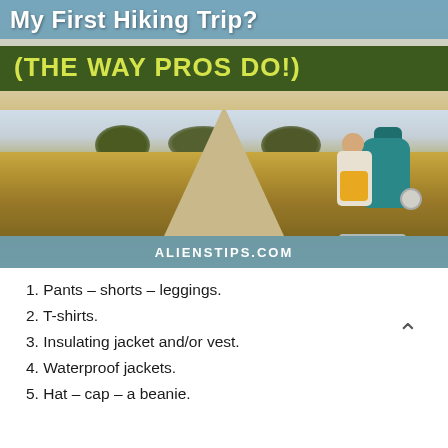[Figure (photo): Blog post cover image showing a hiker with a large teal backpack walking on a wooden boardwalk through golden grassy fields. Title overlay at top reads 'My First Hiking Trip?' and subtitle bar reads '(THE WAY PROS DO!)'. Website URL 'ALIENSTIPS.COM' shown at bottom of image.]
1. Pants – shorts – leggings.
2. T-shirts.
3. Insulating jacket and/or vest.
4. Waterproof jackets.
5. Hat – cap – a beanie.